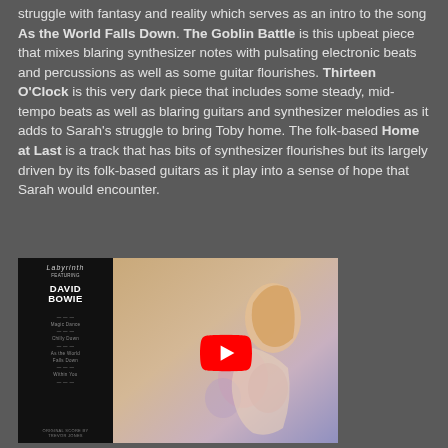struggle with fantasy and reality which serves as an intro to the song As the World Falls Down. The Goblin Battle is this upbeat piece that mixes blaring synthesizer notes with pulsating electronic beats and percussions as well as some guitar flourishes. Thirteen O'Clock is this very dark piece that includes some steady, mid-tempo beats as well as blaring guitars and synthesizer melodies as it adds to Sarah's struggle to bring Toby home. The folk-based Home at Last is a track that has bits of synthesizer flourishes but its largely driven by its folk-based guitars as it play into a sense of hope that Sarah would encounter.
[Figure (screenshot): YouTube video thumbnail showing 'Labyrinth - Halluci...' with a channel avatar, play button overlay, and Labyrinth movie album cover art featuring David Bowie text and a woman with flowing hair.]